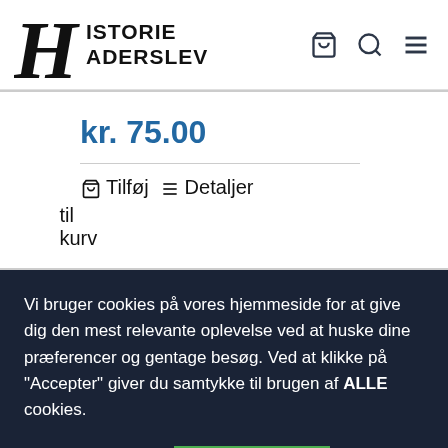[Figure (logo): HistorieHaderslev website logo with stylized H letterform and shopping cart, search, and menu icons]
kr. 75.00
Tilføj til kurv   Detaljer
Vi bruger cookies på vores hjemmeside for at give dig den mest relevante oplevelse ved at huske dine præferencer og gentage besøg. Ved at klikke på "Accepter" giver du samtykke til brugen af ALLE cookies.
Cookieindstillinger
ACCEPTER